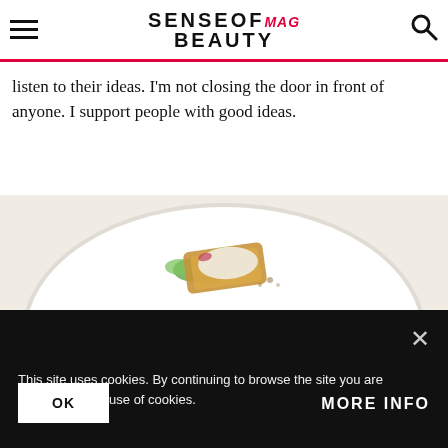SENSE OF BEAUTY MAG
listen to their ideas. I'm not closing the door in front of anyone. I support people with good ideas.
[Figure (photo): A plated gourmet dish on a white plate, photographed from above, with green garnish and golden-brown elements]
This site uses cookies. By continuing to browse the site you are agreeing to our use of cookies.
OK
MORE INFO